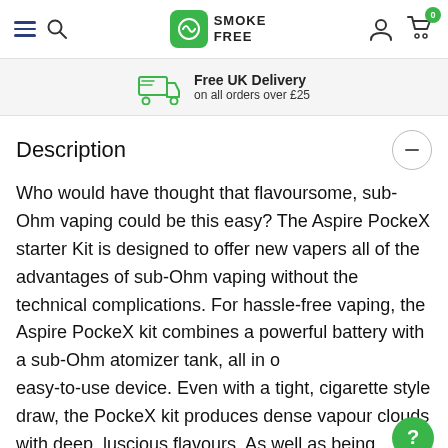Smoke Free - navigation bar with hamburger, search, logo, account and cart (0 items)
Free UK Delivery on all orders over £25
Description
Who would have thought that flavoursome, sub-Ohm vaping could be this easy? The Aspire PockeX starter Kit is designed to offer new vapers all of the advantages of sub-Ohm vaping without the technical complications. For hassle-free vaping, the Aspire PockeX kit combines a powerful battery with a sub-Ohm atomizer tank, all in one easy-to-use device. Even with a tight, cigarette style draw, the PockeX kit produces dense vapour clouds with deep, luscious flavours. As well as being simple to use, the Aspire PockeX e cigarette is fully compliant with the new